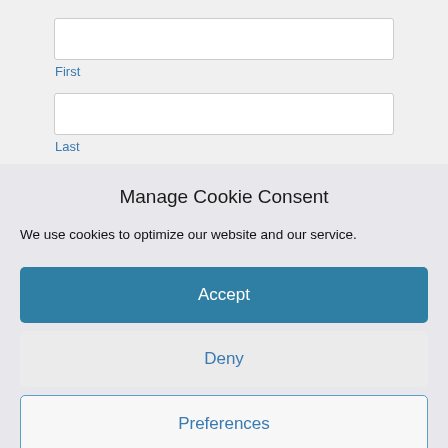[Figure (screenshot): Form input field labeled 'First']
First
[Figure (screenshot): Form input field labeled 'Last']
Last
Manage Cookie Consent
We use cookies to optimize our website and our service.
Accept
Deny
Preferences